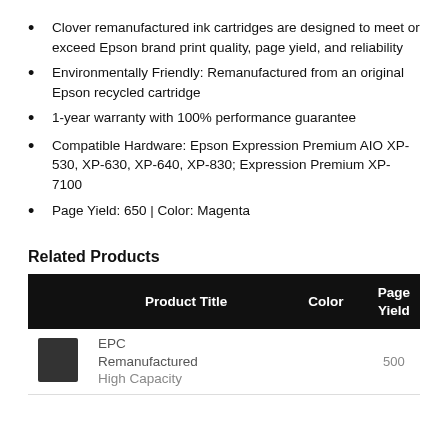Clover remanufactured ink cartridges are designed to meet or exceed Epson brand print quality, page yield, and reliability
Environmentally Friendly: Remanufactured from an original Epson recycled cartridge
1-year warranty with 100% performance guarantee
Compatible Hardware: Epson Expression Premium AIO XP-530, XP-630, XP-640, XP-830; Expression Premium XP-7100
Page Yield: 650 | Color: Magenta
Related Products
|  | Product Title | Color | Page Yield |
| --- | --- | --- | --- |
| [image] | EPC Remanufactured High Capacity... |  | 500 |